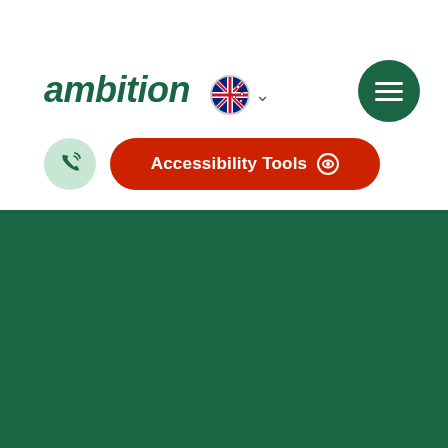[Figure (logo): Ambition logo in dark green italic text with New Zealand flag circle and dropdown chevron]
[Figure (other): Green circular hamburger menu button with three white horizontal bars]
[Figure (other): Light green circular phone icon button]
[Figure (other): Red rounded rectangle Accessibility Tools button with eye icon]
Corporate Social Responsibility